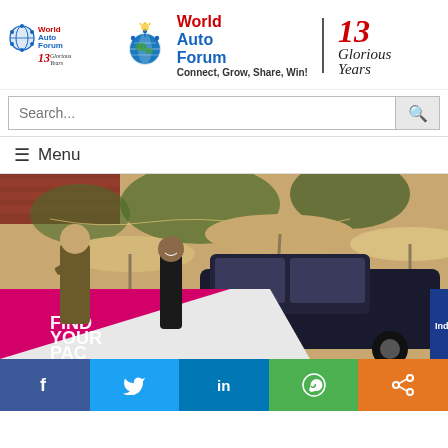[Figure (logo): World Auto Forum logo - small version on the left, large version in center with globe icon, WAF text, 13 Glorious Years branding]
Search...
≡ Menu
[Figure (photo): Outdoor scene with two people near colorful wrapped cars (pink/white with 'FIND YOUR PACE' text, dark blue with 'Indy' branding), patio umbrellas in background]
[Figure (infographic): Social media share bar with Facebook, Twitter, LinkedIn, WhatsApp, and Share icons]